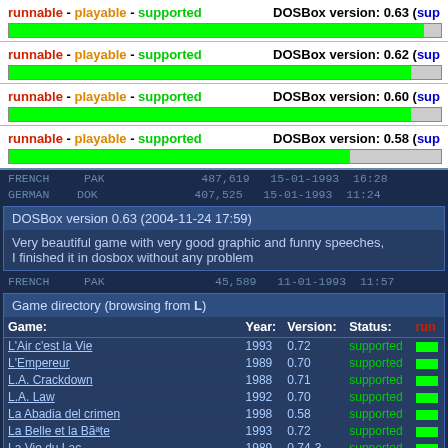runnable - playable - supported | DOSBox version: 0.63 (sup
[Figure (infographic): Green progress bar nearly full width]
runnable - playable - supported | DOSBox version: 0.62 (sup
[Figure (infographic): Green progress bar nearly full width]
runnable - playable - supported | DOSBox version: 0.60 (sup
[Figure (infographic): Green progress bar nearly full width]
runnable - playable - supported | DOSBox version: 0.58 (sup
[Figure (infographic): Green progress bar about 80% width]
FRENCH PAK 487,619 15-01-1993 16:28
GERMAN DOK 407,525 15-01-1993 11:24
DOSBox version 0.63 (2004-11-24 17:59)
Very beautiful game with very good graphic and funny speeches, I finished it in dosbox without any problem
FRENCH PAK 45,589 11-01-1993 11:57
Game directory (browsing from L)
| Game: | Year: | Version: | Status: | run |
| --- | --- | --- | --- | --- |
| L'Air c'est la Vie | 1993 | 0.72 | supported |  |
| L'Empereur | 1989 | 0.70 | supported |  |
| L.A. Crackdown | 1988 | 0.71 | supported |  |
| L.A. Law | 1992 | 0.70 | supported |  |
| La Abadia del crimen | 1998 | 0.58 | supported |  |
| La Belle et la Bête | 1993 | 0.72 | supported |  |
| La Vie du Lac | 1989 | 0.74-3 | supported |  |
| Labrynth of Zeux v2.21 | 1993 | 0.63 | supported |  |
| Labyrinth of Light | 1994 | 0.65 | supported |  |